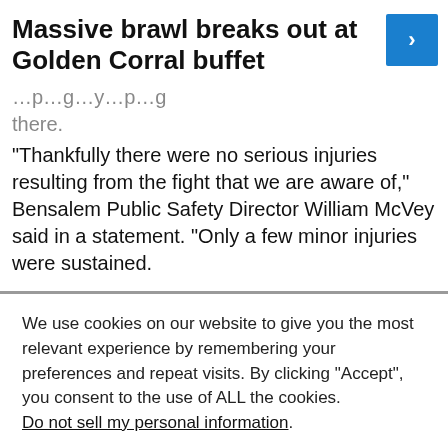Massive brawl breaks out at Golden Corral buffet
…p…g…y…p…g there.
“Thankfully there were no serious injuries resulting from the fight that we are aware of,” Bensalem Public Safety Director William McVey said in a statement. “Only a few minor injuries were sustained.
We use cookies on our website to give you the most relevant experience by remembering your preferences and repeat visits. By clicking “Accept”, you consent to the use of ALL the cookies. Do not sell my personal information.
Cookie Settings  Accept